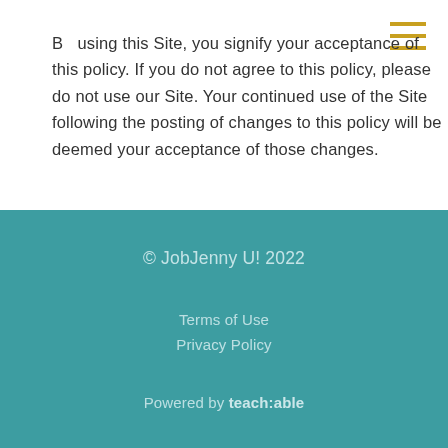By using this Site, you signify your acceptance of this policy. If you do not agree to this policy, please do not use our Site. Your continued use of the Site following the posting of changes to this policy will be deemed your acceptance of those changes.
© JobJenny U! 2022
Terms of Use
Privacy Policy
Powered by teach:able